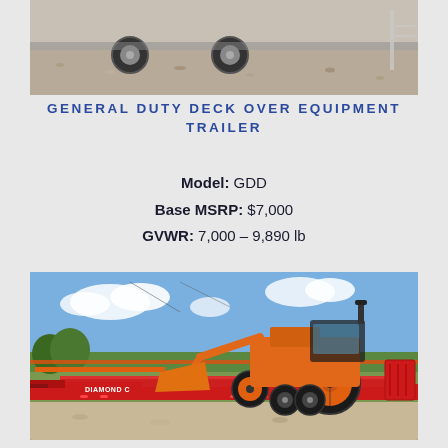[Figure (photo): Top portion of a trailer on gravel ground, partial view showing wheels and trailer bed]
GENERAL DUTY DECK OVER EQUIPMENT TRAILER
Model: GDD
Base MSRP: $7,000
GVWR: 7,000 – 9,890 lb
[Figure (photo): Red Diamond C flatbed/deck over equipment trailer with an orange Kubota tractor loaded on it, parked on gravel with blue sky and green trees in background]